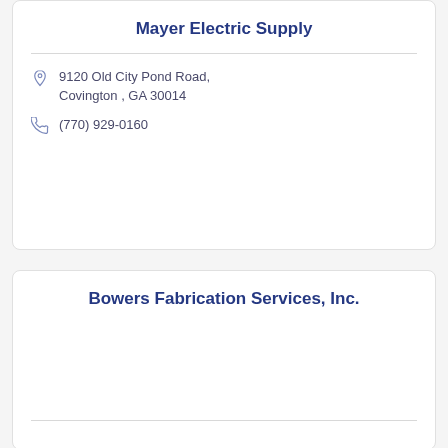Mayer Electric Supply
9120 Old City Pond Road, Covington , GA 30014
(770) 929-0160
Bowers Fabrication Services, Inc.